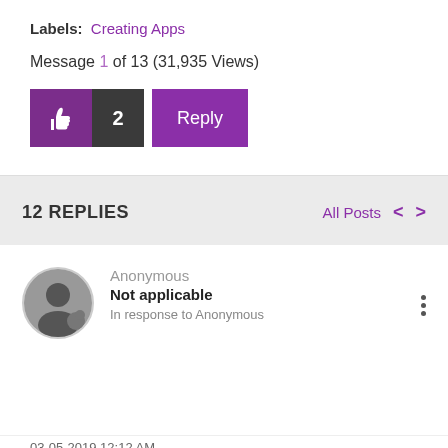Labels: Creating Apps
Message 1 of 13 (31,935 Views)
[Figure (screenshot): Like button with thumbs up icon showing count of 2, and a purple Reply button]
12 REPLIES
All Posts
Anonymous
Not applicable
In response to Anonymous